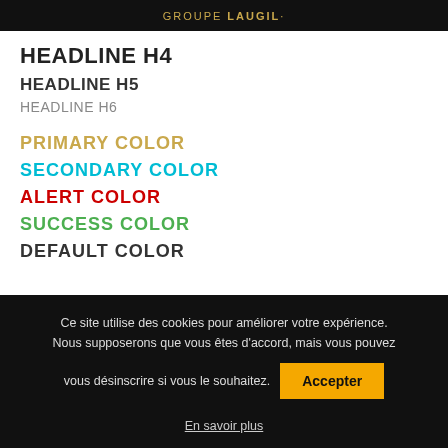GROUPE LAUGIL
HEADLINE H4
HEADLINE H5
HEADLINE H6
PRIMARY COLOR
SECONDARY COLOR
ALERT COLOR
SUCCESS COLOR
DEFAULT COLOR
Ce site utilise des cookies pour améliorer votre expérience. Nous supposerons que vous êtes d'accord, mais vous pouvez vous désinscrire si vous le souhaitez.
Accepter
En savoir plus